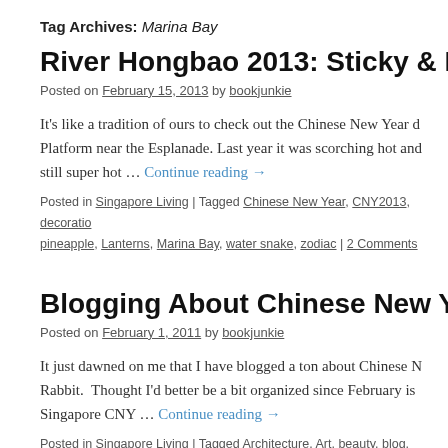Tag Archives: Marina Bay
River Hongbao 2013: Sticky & Hot at the ...
Posted on February 15, 2013 by bookjunkie
It's like a tradition of ours to check out the Chinese New Year d... Platform near the Esplanade. Last year it was scorching hot and... still super hot … Continue reading →
Posted in Singapore Living | Tagged Chinese New Year, CNY2013, decoratio... pineapple, Lanterns, Marina Bay, water snake, zodiac | 2 Comments
Blogging About Chinese New Year 2011
Posted on February 1, 2011 by bookjunkie
It just dawned on me that I have blogged a ton about Chinese N... Rabbit. Thought I'd better be a bit organized since February is ... Singapore CNY … Continue reading →
Posted in Singapore Living | Tagged Architecture, Art, beauty, blog, blogging,